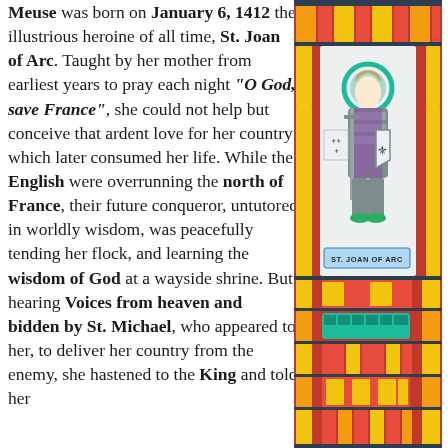Meuse was born on January 6, 1412 the illustrious heroine of all time, St. Joan of Arc. Taught by her mother from earliest years to pray each night "O God, save France", she could not help but conceive that ardent love for her country which later consumed her life. While the English were overrunning the north of France, their future conqueror, untutored in worldly wisdom, was peacefully tending her flock, and learning the wisdom of God at a wayside shrine. But hearing Voices from heaven and bidden by St. Michael, who appeared to her, to deliver her country from the enemy, she hastened to the King and told her
[Figure (illustration): Stained glass window depicting St. Joan of Arc in armor, holding a sword and shield, with a halo, set against red and yellow geometric glass panels. A nameplate at the bottom reads 'ST. JOAN OF ARC'.]